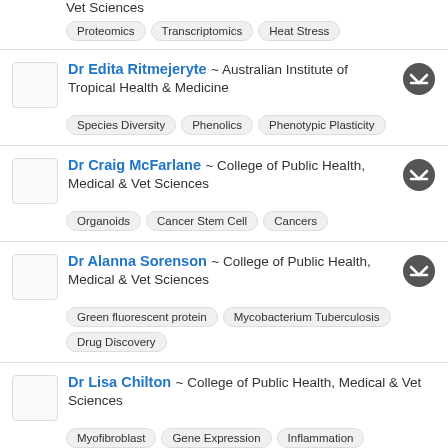Vet Sciences
Proteomics | Transcriptomics | Heat Stress
Dr Edita Ritmejeryte ~ Australian Institute of Tropical Health & Medicine
Species Diversity | Phenolics | Phenotypic Plasticity
Dr Craig McFarlane ~ College of Public Health, Medical & Vet Sciences
Organoids | Cancer Stem Cell | Cancers
Dr Alanna Sorenson ~ College of Public Health, Medical & Vet Sciences
Green fluorescent protein | Mycobacterium Tuberculosis | Drug Discovery
Dr Lisa Chilton ~ College of Public Health, Medical & Vet Sciences
Myofibroblast | Gene Expression | Inflammation
A/Prof Patrick Schaeffer ~ College of Public Health, Medical & Vet Sciences
Green fluorescent protein | Mycobacterium Tuberculosis | 15 Antibod...